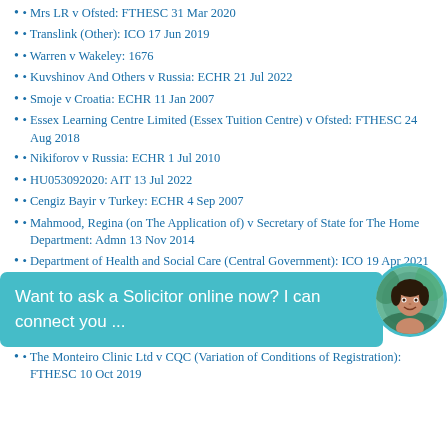Mrs LR v Ofsted: FTHESC 31 Mar 2020
Translink (Other): ICO 17 Jun 2019
Warren v Wakeley: 1676
Kuvshinov And Others v Russia: ECHR 21 Jul 2022
Smoje v Croatia: ECHR 11 Jan 2007
Essex Learning Centre Limited (Essex Tuition Centre) v Ofsted: FTHESC 24 Aug 2018
Nikiforov v Russia: ECHR 1 Jul 2010
HU053092020: AIT 13 Jul 2022
Cengiz Bayir v Turkey: ECHR 4 Sep 2007
Mahmood, Regina (on The Application of) v Secretary of State for The Home Department: Admn 13 Nov 2014
Department of Health and Social Care (Central Government): ICO 19 Apr 2021
Lyakhovetskaya v Ukraine: ECHR 14 Dec 2006
The Monteiro Clinic Ltd v CQC (Variation of Conditions of Registration): FTHESC 10 Oct 2019
[Figure (other): Chat widget overlay with teal/cyan background showing 'Want to ask a Solicitor online now? I can connect you ...' with a circular avatar photo of a woman on the right side]